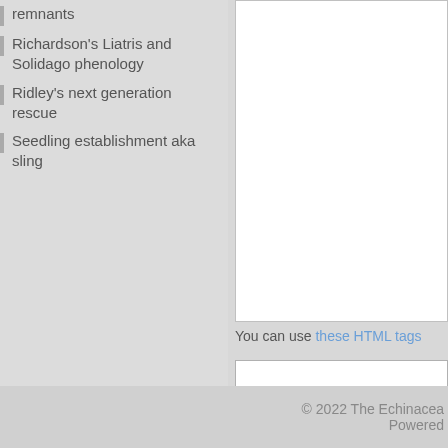remnants
Richardson's Liatris and Solidago phenology
Ridley's next generation rescue
Seedling establishment aka sling
You can use these HTML tags
(required)
Save my name, email, and we
Post Comment
© 2022 The Echinacea  Powered